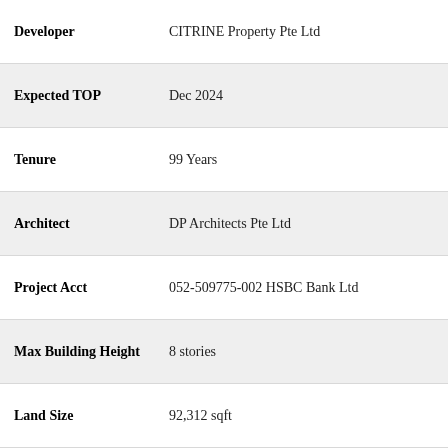| Field | Value |
| --- | --- |
| Developer | CITRINE Property Pte Ltd |
| Expected TOP | Dec 2024 |
| Tenure | 99 Years |
| Architect | DP Architects Pte Ltd |
| Project Acct | 052-509775-002 HSBC Bank Ltd |
| Max Building Height | 8 stories |
| Land Size | 92,312 sqft |